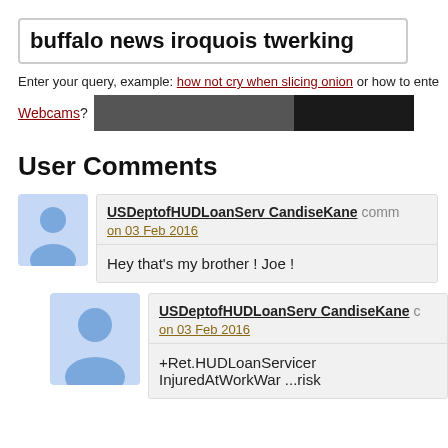buffalo news iroquois twerking
Enter your query, example: how not cry when slicing onion or how to ente...
Webcams?
User Comments
USDeptofHUDLoanServ CandiseKane comm... on 03 Feb 2016 Hey that's my brother ! Joe !
USDeptofHUDLoanServ CandiseKane o... on 03 Feb 2016 +Ret.HUDLoanServicer InjuredAtWorkWar ...risk